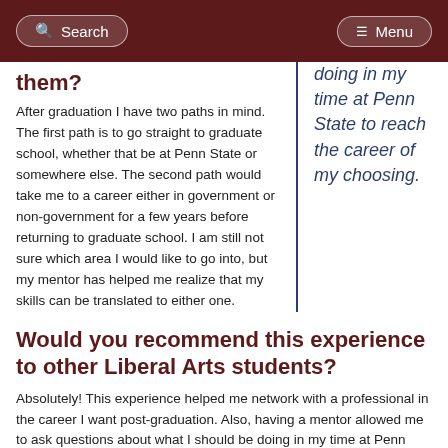Search | Menu
them?
After graduation I have two paths in mind. The first path is to go straight to graduate school, whether that be at Penn State or somewhere else. The second path would take me to a career either in government or non-government for a few years before returning to graduate school. I am still not sure which area I would like to go into, but my mentor has helped me realize that my skills can be translated to either one.
doing in my time at Penn State to reach the career of my choosing.
Would you recommend this experience to other Liberal Arts students?
Absolutely! This experience helped me network with a professional in the career I want post-graduation. Also, having a mentor allowed me to ask questions about what I should be doing in my time at Penn State to reach the career of my